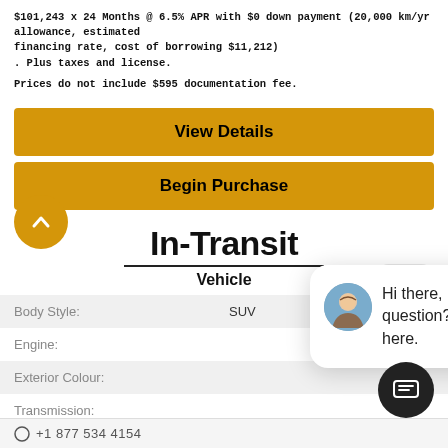$101,243 x 24 Months @ 6.5% APR with $0 down payment (20,000 km/yr allowance, estimated financing rate, cost of borrowing $11,212)
. Plus taxes and license.
Prices do not include $595 documentation fee.
View Details
Begin Purchase
In-Transit
Vehicle
| Field | Value |
| --- | --- |
| Body Style: | SUV |
| Engine: |  |
| Exterior Colour: |  |
| Transmission: |  |
| Drivetrain: | 4x4 |
| Stock #: | 2207390 |
| City: | Langley City |
Hi there, have a question? Text us here.
+ 1 877 534 4154